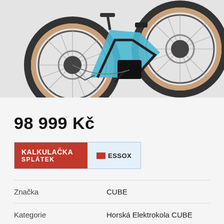[Figure (photo): E-mountain bike (CUBE) in blue and black color, shown from the side with two large wheels with brown/tan sidewall tires and disc brakes visible.]
98 999 Kč
[Figure (infographic): KALKULAČKA SPLÁTEK button with ESSOX logo — installment calculator button in red and light blue.]
|  |  |
| --- | --- |
| Značka | CUBE |
| Kategorie | Horská Elektrokola CUBE |
Dotaz